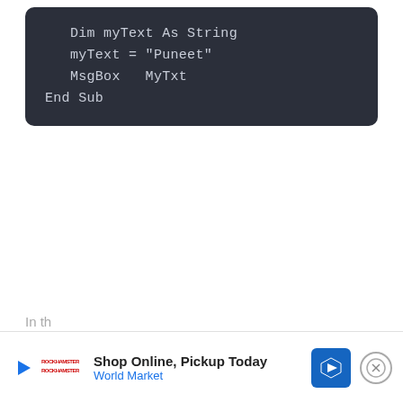[Figure (screenshot): Dark-themed code block showing VBA code: Dim myText As String / myText = "Puneet" / MsgBox   MyTxt / End Sub]
In th
[Figure (other): Advertisement banner: Shop Online, Pickup Today - World Market, with play button, logo, navigation icon, and close button]